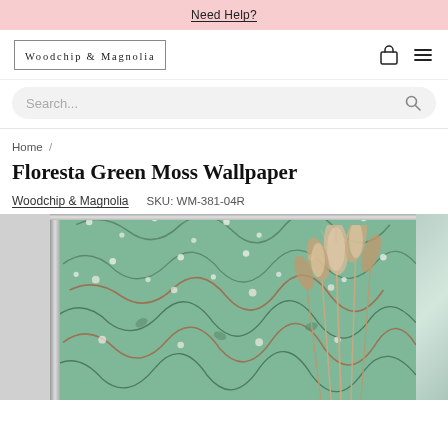Need Help?
[Figure (logo): Woodchip & Magnolia logo with border]
Search...
Home /
Floresta Green Moss Wallpaper
Woodchip & Magnolia    SKU: WM-381-04R
[Figure (photo): Green moss floral wallpaper product image in a silver frame with pampas grass decoration]